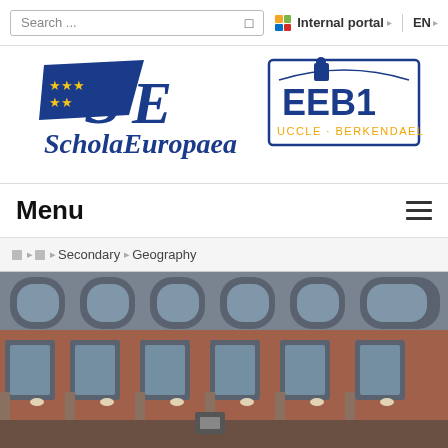Search ... | Internal portal | EN
[Figure (logo): Schola Europaea / EEB1 Uccle-Berkendael logo with European flag stars and stylized SE letters]
Menu
Secondary › Geography
[Figure (photo): Exterior photo of the European School EEB1 Uccle-Berkendael building, showing curved brick facade with arched windows and metal roof]